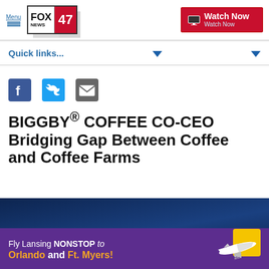FOX 47 NEWS | Menu | Watch Now
Quick links...
[Figure (screenshot): Social media share icons: Facebook, Twitter, Email]
BIGGBY® COFFEE CO-CEO Bridging Gap Between Coffee and Coffee Farms
[Figure (photo): Advertisement banner: Fly Lansing NONSTOP to Orlando and Ft. Myers! with Avelo Airlines plane graphic on purple/blue background]